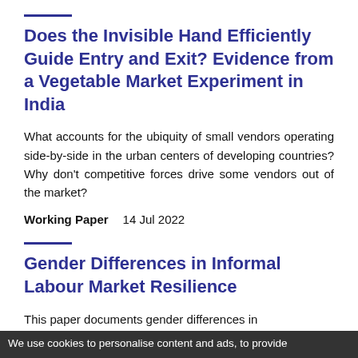Does the Invisible Hand Efficiently Guide Entry and Exit? Evidence from a Vegetable Market Experiment in India
What accounts for the ubiquity of small vendors operating side-by-side in the urban centers of developing countries? Why don't competitive forces drive some vendors out of the market?
Working Paper   14 Jul 2022
Gender Differences in Informal Labour Market Resilience
This paper documents gender differences in informal labor market resilience using monthly panel
We use cookies to personalise content and ads, to provide